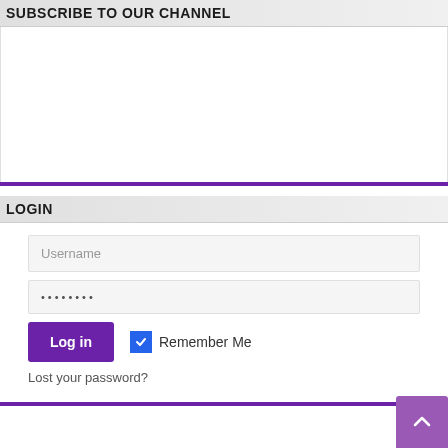SUBSCRIBE TO OUR CHANNEL
[Figure (other): Empty white content area with purple divider at bottom, representing a subscribe widget area]
LOGIN
Username
••••••••
Log in
Remember Me
Lost your password?